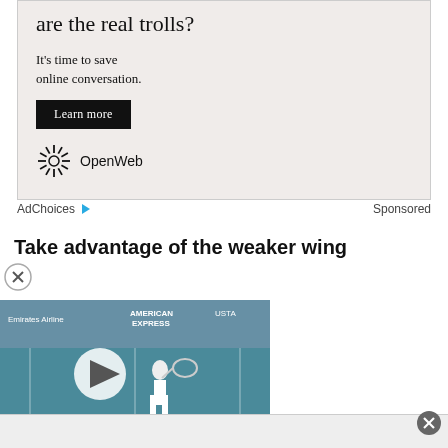[Figure (screenshot): Advertisement banner with pinkish-beige background. Shows partial text 'are the real trolls?' at top, then 'It's time to save online conversation.' with a 'Learn more' dark button and OpenWeb logo at bottom.]
AdChoices ▷   Sponsored
Take advantage of the weaker wing
[Figure (photo): Video thumbnail showing a tennis player on a US Open court. Visible text: Emirates Airline, AMERICAN EXPRESS, USTA, CHUBB. White play button triangle overlaid in center.]
[Figure (screenshot): Bottom advertisement bar, light gray/white background, mostly empty with a close (x) button on the right.]